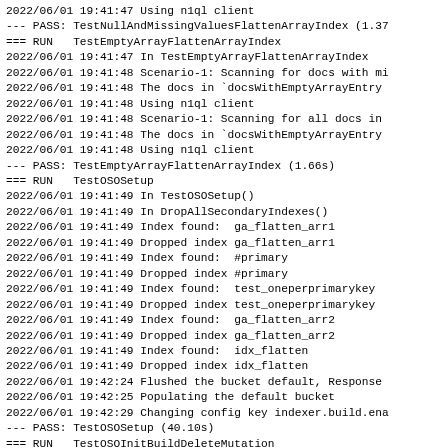2022/06/01 19:41:47 Using n1ql client
--- PASS: TestNullAndMissingValuesFlattenArrayIndex (1.37
=== RUN   TestEmptyArrayFlattenArrayIndex
2022/06/01 19:41:47 In TestEmptyArrayFlattenArrayIndex
2022/06/01 19:41:48 Scenario-1: Scanning for docs with mi
2022/06/01 19:41:48 The docs in `docsWithEmptyArrayEntry
2022/06/01 19:41:48 Using n1ql client
2022/06/01 19:41:48 Scenario-1: Scanning for all docs in
2022/06/01 19:41:48 The docs in `docsWithEmptyArrayEntry
2022/06/01 19:41:48 Using n1ql client
--- PASS: TestEmptyArrayFlattenArrayIndex (1.66s)
=== RUN   TestOSOSetup
2022/06/01 19:41:49 In TestOSOSetup()
2022/06/01 19:41:49 In DropAllSecondaryIndexes()
2022/06/01 19:41:49 Index found:  ga_flatten_arr1
2022/06/01 19:41:49 Dropped index ga_flatten_arr1
2022/06/01 19:41:49 Index found:  #primary
2022/06/01 19:41:49 Dropped index #primary
2022/06/01 19:41:49 Index found:  test_oneperprimarykey
2022/06/01 19:41:49 Dropped index test_oneperprimarykey
2022/06/01 19:41:49 Index found:  ga_flatten_arr2
2022/06/01 19:41:49 Dropped index ga_flatten_arr2
2022/06/01 19:41:49 Index found:  idx_flatten
2022/06/01 19:41:49 Dropped index idx_flatten
2022/06/01 19:42:24 Flushed the bucket default, Response
2022/06/01 19:42:25 Populating the default bucket
2022/06/01 19:42:29 Changing config key indexer.build.ena
--- PASS: TestOSOSetup (40.10s)
=== RUN   TestOSOInitBuildDeleteMutation
2022/06/01 19:42:29 In TestOSOInitBuildDeleteMutation()
2022/06/01 19:42:22 Created the secondary index index_si